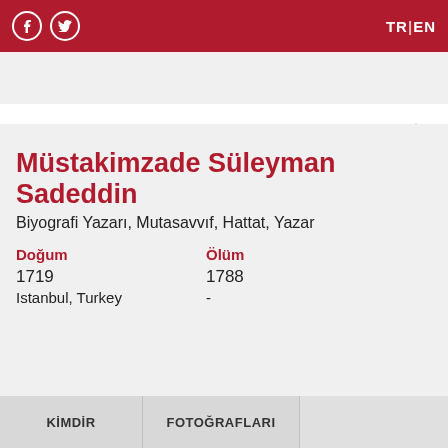Biyografya beta — TR | EN
Müstakimzade Süleyman Sadeddin
Biyografi Yazarı, Mutasavvıf, Hattat, Yazar
Doğum
1719
Istanbul, Turkey

Ölüm
1788
-